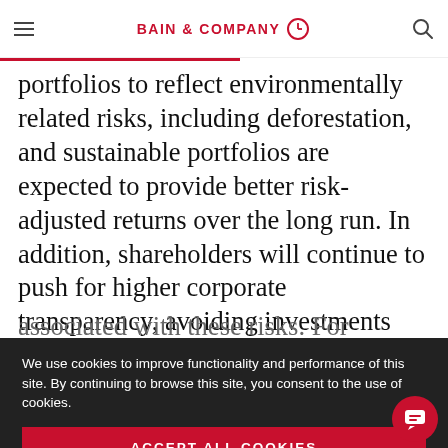BAIN & COMPANY
portfolios to reflect environmentally related risks, including deforestation, and sustainable portfolios are expected to provide better risk-adjusted returns over the long run. In addition, shareholders will continue to push for higher corporate transparency, avoiding investments associated with these risks. For example, in July
We use cookies to improve functionality and performance of this site. By continuing to browse this site, you consent to the use of cookies.
ACCEPT ALL COOKIES